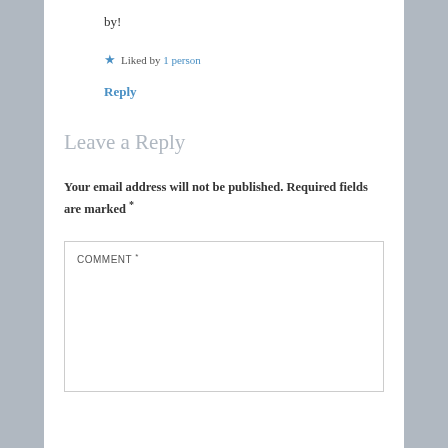by!
★ Liked by 1 person
Reply
Leave a Reply
Your email address will not be published. Required fields are marked *
COMMENT *